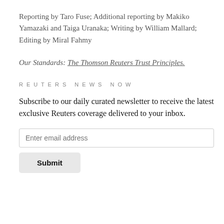Reporting by Taro Fuse; Additional reporting by Makiko Yamazaki and Taiga Uranaka; Writing by William Mallard; Editing by Miral Fahmy
Our Standards: The Thomson Reuters Trust Principles.
REUTERS NEWS NOW
Subscribe to our daily curated newsletter to receive the latest exclusive Reuters coverage delivered to your inbox.
Enter email address
Submit